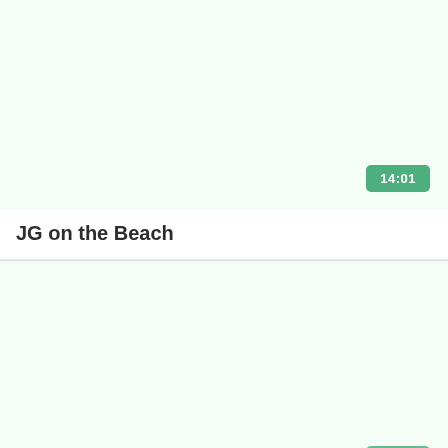[Figure (screenshot): Video thumbnail placeholder for JG on the Beach, light green background]
14:01
JG on the Beach
[Figure (screenshot): Second video thumbnail placeholder, light green background]
14:01